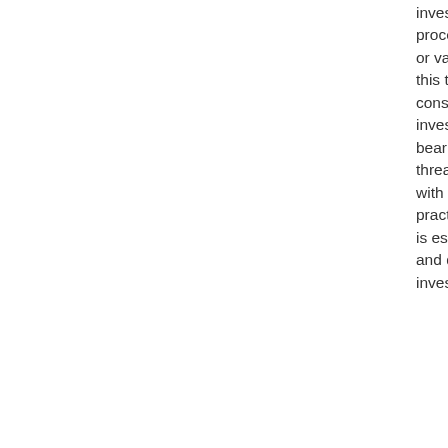investments offer secure earnings from the proceeds of a company, federal government, or various other entity. The danger related to this type of investment is greater, yet it is also considered among the most trusted financial investments. Nevertheless, it is necessary to bear in mind that buying bonds comes with threat due to the fact that the rates fluctuate with market problems. Nevertheless, it is a practical option if you have the cash to risk. It is essential to recognize the threats involved and determine which sort of financial investment is best for your scenario.